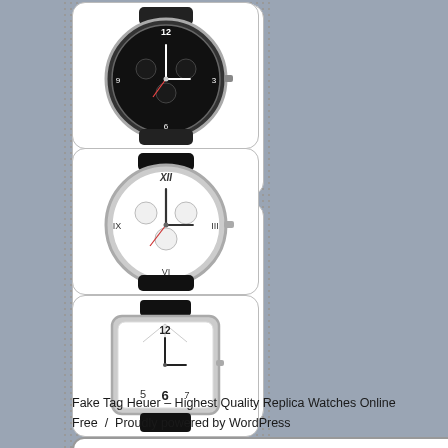[Figure (photo): Black dial chronograph watch with rubber strap (first watch in left column)]
[Figure (photo): White dial round watch with black leather strap (second watch in left column)]
[Figure (photo): White rectangular face watch with black leather strap (third watch in left column)]
More best replica watches
Fake Tag Heuer – Highest Quality Replica Watches Online Free  /  Proudly powered by WordPress